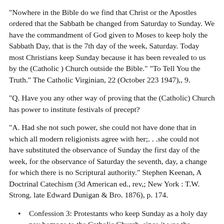"Nowhere in the Bible do we find that Christ or the Apostles ordered that the Sabbath be changed from Saturday to Sunday. We have the commandment of God given to Moses to keep holy the Sabbath Day, that is the 7th day of the week, Saturday. Today most Christians keep Sunday because it has been revealed to us by the (Catholic ) Church outside the Bible." "To Tell You the Truth." The Catholic Virginian, 22 (October 223 1947),, 9.
"Q. Have you any other way of proving that the (Catholic) Church has power to institute festivals of precept?
"A. Had she not such power, she could not have done that in which all modern religionists agree with her;. . .she could not have substituted the observance of Sunday the first day of the week, for the observance of Saturday the seventh, day, a change for which there is no Scriptural authority." Stephen Keenan, A Doctrinal Catechism (3d American ed., rev,; New York : T.W. Strong. late Edward Dunigan & Bro. 1876), p. 174.
Confession 3: Protestants who keep Sunday as a holy day pay homage to the Catholic Church, since it was the Catholic Church that turned Sunday into a holy